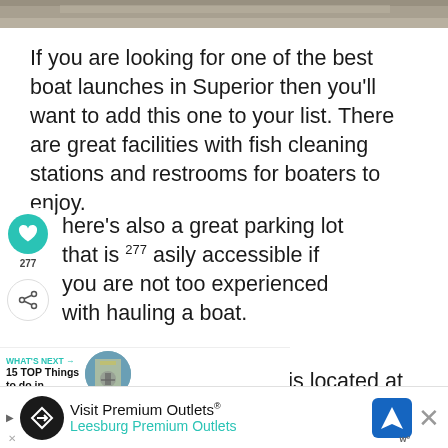[Figure (photo): Top strip of a photo showing a road or pavement surface, cropped.]
If you are looking for one of the best boat launches in Superior then you’ll want to add this one to your list. There are great facilities with fish cleaning stations and restrooms for boaters to enjoy.
There’s also a great parking lot that is easily accessible if you are not too experienced with hauling a boat.
...his boat ramp area since it is located at the mouth of the Saint Louis
[Figure (infographic): WHAT'S NEXT banner with thumbnail image for '15 TOP Things to do in...']
[Figure (infographic): Advertisement banner: Visit Premium Outlets - Leesburg Premium Outlets with logo and directions icon]